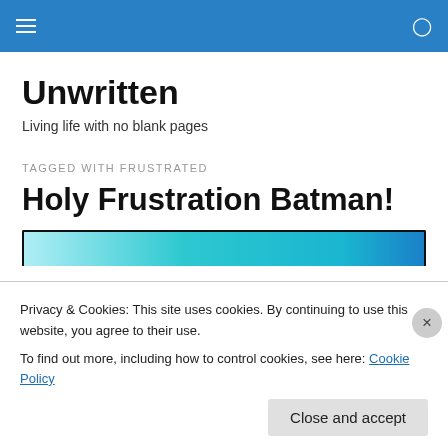Unwritten
Living life with no blank pages
TAGGED WITH FRUSTRATED
Holy Frustration Batman!
[Figure (screenshot): Partial screenshot of a website image strip with teal/blue background]
Privacy & Cookies: This site uses cookies. By continuing to use this website, you agree to their use.
To find out more, including how to control cookies, see here: Cookie Policy
Close and accept